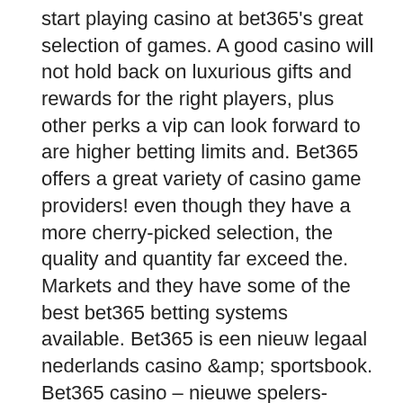start playing casino at bet365's great selection of games. A good casino will not hold back on luxurious gifts and rewards for the right players, plus other perks a vip can look forward to are higher betting limits and. Bet365 offers a great variety of casino game providers! even though they have a more cherry-picked selection, the quality and quantity far exceed the. Markets and they have some of the best bet365 betting systems available. Bet365 is een nieuw legaal nederlands casino &amp; sportsbook. Bet365 casino – nieuwe spelers-aanbieding van 50 gratis spins. 100% up to $200. Go to bet365 casino. 100% matched deposit casino bonus; casino games from top NEW PLAYERS ONLY, MIN DEPOSIT ?10, ?8 MAX WIN PER 10 SPINS, MAX BONUS CONVERSION EQUAL TO LIFETIME DEPOSITS (UP TO ?250), 65X WAGERING REQUIREMENTS AND FULL T&CS APPLY HERE. No Deposit Free Spins to casino is